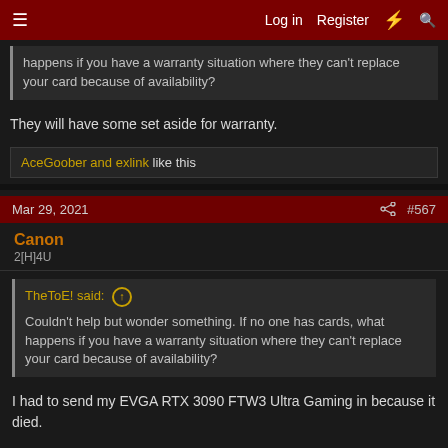Log in  Register  #567
happens if you have a warranty situation where they can't replace your card because of availability?
They will have some set aside for warranty.
AceGoober and exlink like this
Mar 29, 2021  #567
Canon
2[H]4U
TheToE! said: ↑
Couldn't help but wonder something. If no one has cards, what happens if you have a warranty situation where they can't replace your card because of availability?
I had to send my EVGA RTX 3090 FTW3 Ultra Gaming in because it died.